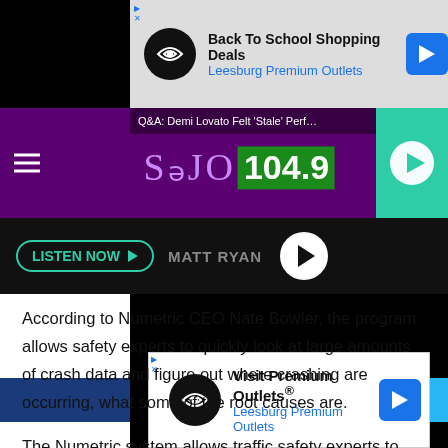[Figure (screenshot): Advertisement banner for Leesburg Premium Outlets - Back To School Shopping Deals with logo and blue arrow icon]
[Figure (screenshot): SoJo 104.9 radio station header with purple gradient background, station logo, and green play button]
[Figure (screenshot): Audio player bar with LISTEN NOW button, MATT RYAN text, and play button circle on dark background]
[Figure (screenshot): Video/media player area with black background and blue bars]
According to Numetric CEO Nate Bowler, the program allows safety experts to quickly look at large amounts of crash data and figure out where crashing are occurring, what some of the root causes are.
The Numetric system allows traffic safety experts to gather data o... ...n review... ...period
[Figure (screenshot): Advertisement banner for Visit Premium Outlets - Leesburg Premium Outlets with logo and blue arrow icon]